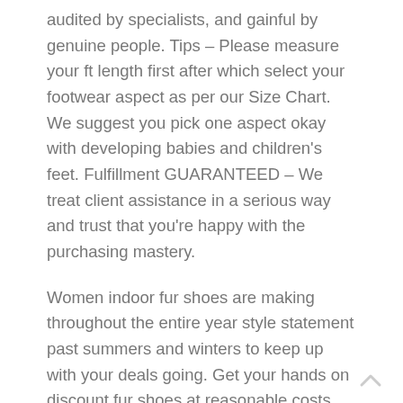audited by specialists, and gainful by genuine people. Tips – Please measure your ft length first after which select your footwear aspect as per our Size Chart. We suggest you pick one aspect okay with developing babies and children's feet. Fulfillment GUARANTEED – We treat client assistance in a serious way and trust that you're happy with the purchasing mastery.
Women indoor fur shoes are making throughout the entire year style statement past summers and winters to keep up with your deals going. Get your hands on discount fur shoes at reasonable costs and it'll in no way, shape or form bomb you assuming that you have the best number of in vogue fur shoe at modest charges. Creatronics is your most noteworthy stock for false fur shoes discount. We could give discount white fluffy shoes, discount pink fluffy shoes, twofold tie fur shoes, false fur slides, fur whirlwind shoes,